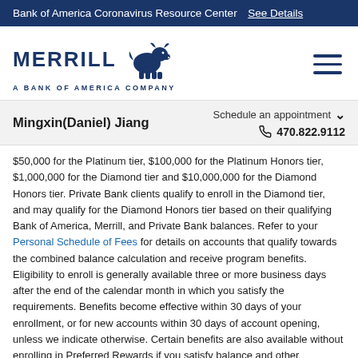Bank of America Coronavirus Resource Center  See Details
[Figure (logo): Merrill Lynch bull logo with text MERRILL A BANK OF AMERICA COMPANY and hamburger menu icon]
Mingxin(Daniel) Jiang    Schedule an appointment   470.822.9112
$50,000 for the Platinum tier, $100,000 for the Platinum Honors tier, $1,000,000 for the Diamond tier and $10,000,000 for the Diamond Honors tier. Private Bank clients qualify to enroll in the Diamond tier, and may qualify for the Diamond Honors tier based on their qualifying Bank of America, Merrill, and Private Bank balances. Refer to your Personal Schedule of Fees for details on accounts that qualify towards the combined balance calculation and receive program benefits. Eligibility to enroll is generally available three or more business days after the end of the calendar month in which you satisfy the requirements. Benefits become effective within 30 days of your enrollment, or for new accounts within 30 days of account opening, unless we indicate otherwise. Certain benefits are also available without enrolling in Preferred Rewards if you satisfy balance and other requirements.